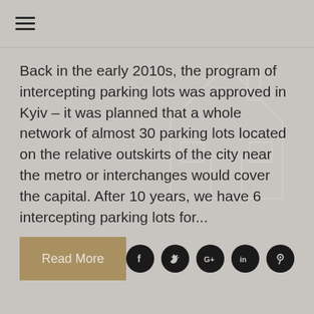[Figure (illustration): Hamburger menu icon (three horizontal lines) in the top-left corner]
Back in the early 2010s, the program of intercepting parking lots was approved in Kyiv – it was planned that a whole network of almost 30 parking lots located on the relative outskirts of the city near the metro or interchanges would cover the capital. After 10 years, we have 6 intercepting parking lots for...
[Figure (illustration): Faint outline of a house/building icon overlaid in the background behind the text]
Read More
[Figure (infographic): Five circular social media icons: Facebook (f), Twitter (bird), Google+ (G+), LinkedIn (in), Pinterest (p)]